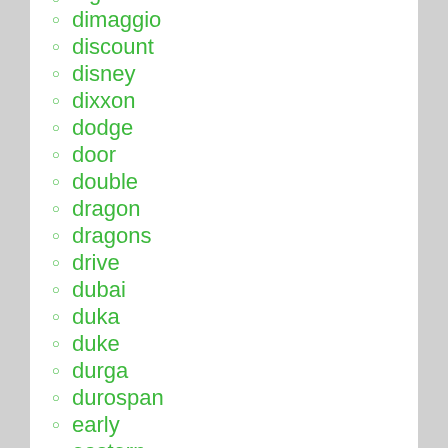dimaggio
discount
disney
dixxon
dodge
door
double
dragon
dragons
drive
dubai
duka
duke
durga
durospan
early
eastern
echtglas